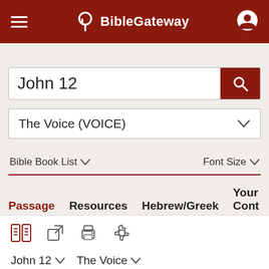BibleGateway
John 12
The Voice (VOICE)
Bible Book List  Font Size
Passage  Resources  Hebrew/Greek  Your Cont
John 12  The Voice